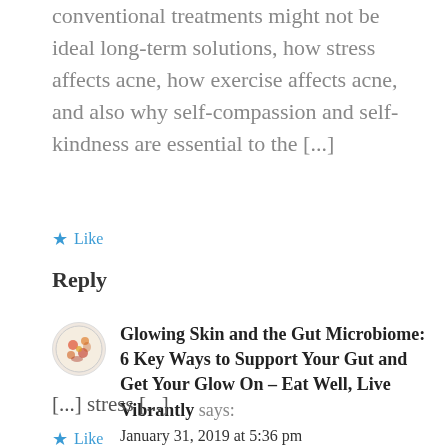conventional treatments might not be ideal long-term solutions, how stress affects acne, how exercise affects acne, and also why self-compassion and self-kindness are essential to the [...]
★ Like
Reply
Glowing Skin and the Gut Microbiome: 6 Key Ways to Support Your Gut and Get Your Glow On – Eat Well, Live Vibrantly says:
January 31, 2019 at 5:36 pm
[...] stress [...]
★ Like